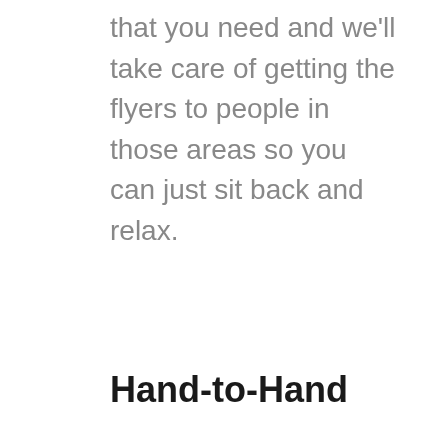that you need and we'll take care of getting the flyers to people in those areas so you can just sit back and relax.
Hand-to-Hand